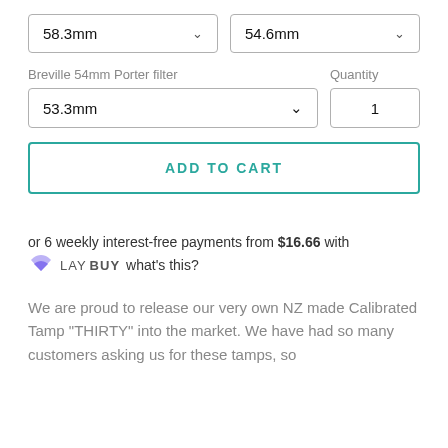[Figure (screenshot): Two dropdown selectors side by side showing 58.3mm and 54.6mm with chevron icons]
Breville 54mm Porter filter
Quantity
[Figure (screenshot): Dropdown selector showing 53.3mm and quantity input showing 1]
ADD TO CART
or 6 weekly interest-free payments from $16.66 with LAYBUY what's this?
We are proud to release our very own NZ made Calibrated Tamp "THIRTY" into the market. We have had so many customers asking us for these tamps, so